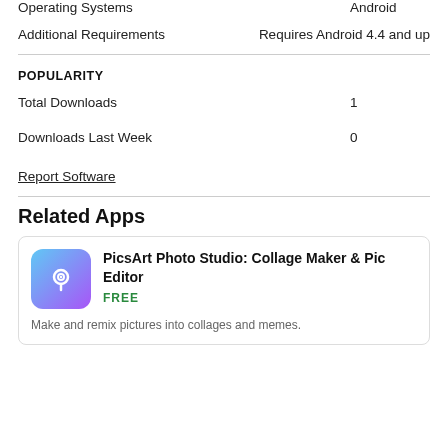|  |  |
| --- | --- |
| Operating Systems | Android |
| Additional Requirements | Requires Android 4.4 and up |
POPULARITY
|  |  |
| --- | --- |
| Total Downloads | 1 |
| Downloads Last Week | 0 |
Report Software
Related Apps
[Figure (screenshot): PicsArt Photo Studio app card with icon, name, FREE label, and description]
Make and remix pictures into collages and memes.